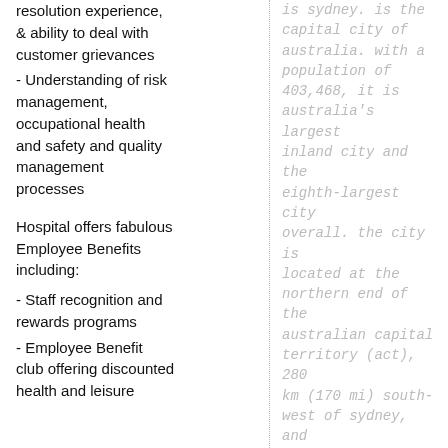resolution experience, & ability to deal with customer grievances
- Understanding of risk management, occupational health and safety and quality management processes
Hospital offers fabulous Employee Benefits including:
- Staff recognition and rewards programs
- Employee Benefit club offering discounted health and leisure
is sydney. is the capital city of australia. with a population of 403,468, it is australia's largest inland city and the eighth-largest city overall. the city is located at the northern end of the australian capital territory (act), 280 km (170 mi) south-west of sydney, and 660 km (410 mi) north-east of melbourne. a resident of canberra is known as a "canberran". although canberra